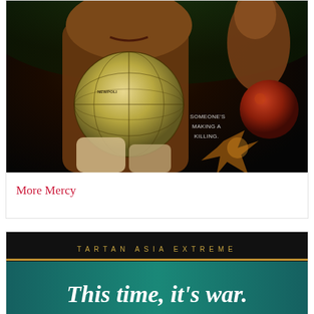[Figure (photo): Movie poster image showing a close-up of a person holding a globe trophy/award, with text 'SOMEONE'S MAKING A KILLING.' overlaid on the dark background. Another person visible in upper right corner.]
More Mercy
[Figure (photo): Movie banner/poster with text 'TARTAN ASIA EXTREME' at top in gold spaced lettering, and 'This time, it's war.' in large bold italic white text below, on a dark background with teal/green accent bar.]